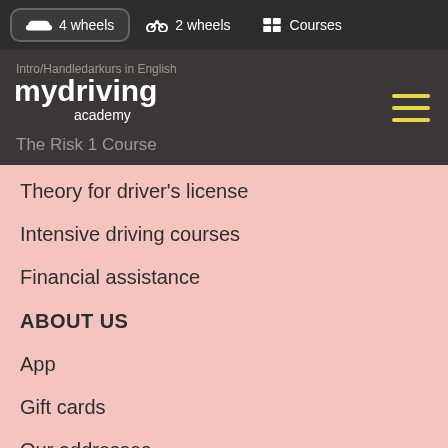4 wheels | 2 wheels | Courses
[Figure (logo): mydriving academy logo with hamburger menu icon on dark background]
Intro/Handledarkurs in English
The Risk 1 Course
Theory for driver's license
Intensive driving courses
Financial assistance
ABOUT US
App
Gift cards
Our addresses
Blog